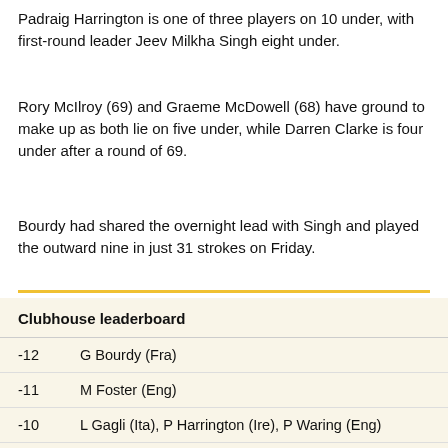Padraig Harrington is one of three players on 10 under, with first-round leader Jeev Milkha Singh eight under.
Rory McIlroy (69) and Graeme McDowell (68) have ground to make up as both lie on five under, while Darren Clarke is four under after a round of 69.
Bourdy had shared the overnight lead with Singh and played the outward nine in just 31 strokes on Friday.
| Score | Player |
| --- | --- |
| -12 | G Bourdy (Fra) |
| -11 | M Foster (Eng) |
| -10 | L Gagli (Ita), P Harrington (Ire), P Waring (Eng) |
| -9 | M Lundberg (Swe), J Donaldson (Wal) |
| -8 | G Orr (Sco), J M Singh (Ind) |